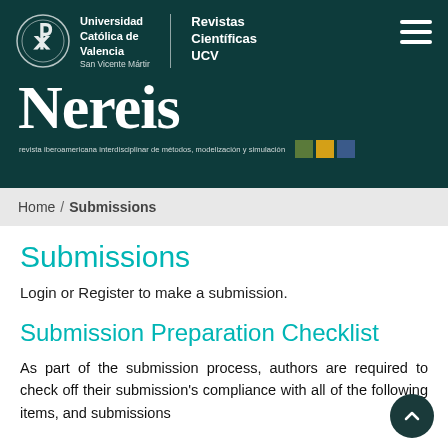[Figure (logo): Universidad Católica de Valencia San Vicente Mártir logo with Revistas Científicas UCV, Nereis journal header on dark teal background]
Home / Submissions
Submissions
Login or Register to make a submission.
Submission Preparation Checklist
As part of the submission process, authors are required to check off their submission's compliance with all of the following items, and submissions